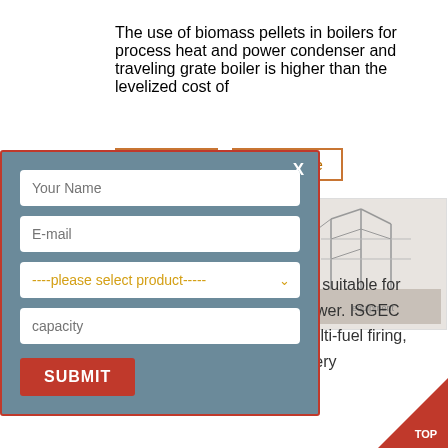The use of biomass pellets in boilers for process heat and power condenser and traveling grate boiler is higher than the levelized cost of
Ask Price | View More
[Figure (screenshot): Contact form modal with fields: Your Name, E-mail, product dropdown, capacity, and SUBMIT button on grey-blue background with red border]
[Figure (photo): Small thumbnail image of industrial boiler equipment]
ISGEC travelling grate boiler suitable for cogeneration and captive power. ISGEC travelling grate boiler has multi-fuel firing, generously sized heat recovery